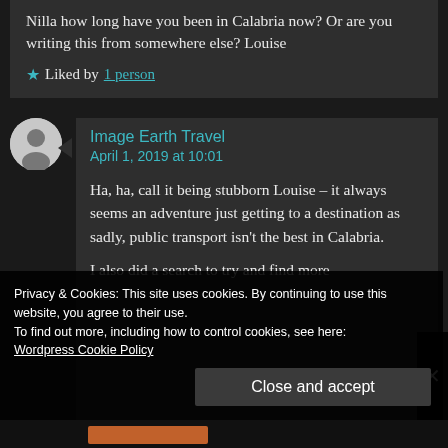Nilla how long have you been in Calabria now? Or are you writing this from somewhere else? Louise
Liked by 1 person
Image Earth Travel
April 1, 2019 at 10:01
Ha, ha, call it being stubborn Louise – it always seems an adventure just getting to a destination as sadly, public transport isn't the best in Calabria.
I also did a search to try and find more
Privacy & Cookies: This site uses cookies. By continuing to use this website, you agree to their use.
To find out more, including how to control cookies, see here:
Wordpress Cookie Policy
Close and accept